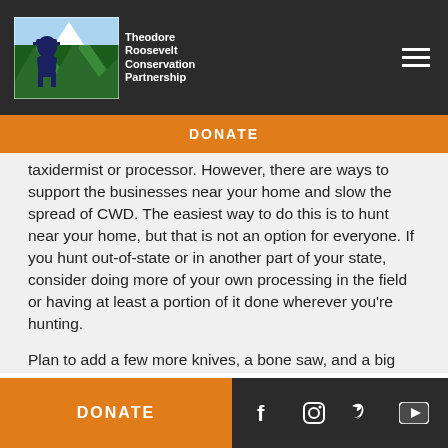Theodore Roosevelt Conservation Partnership — navigation header
DONATE
taxidermist or processor. However, there are ways to support the businesses near your home and slow the spread of CWD. The easiest way to do this is to hunt near your home, but that is not an option for everyone. If you hunt out-of-state or in another part of your state, consider doing more of your own processing in the field or having at least a portion of it done wherever you're hunting.
Plan to add a few more knives, a bone saw, and a big cooler to your list of hunting gear so that you can
DONATE  |  social icons: Facebook, Instagram, Twitter, YouTube